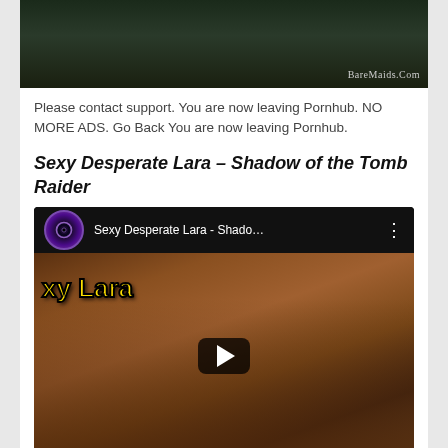[Figure (screenshot): Top portion of a webpage showing a dark image with 'BareMaids.Com' watermark in bottom right]
Please contact support. You are now leaving Pornhub. NO MORE ADS. Go Back You are now leaving Pornhub.
Sexy Desperate Lara – Shadow of the Tomb Raider
[Figure (screenshot): YouTube video embed with dark header showing channel icon and title 'Sexy Desperate Lara - Shado...' with a video thumbnail showing a game character with yellow text 'xy Lara' and a play button overlay]